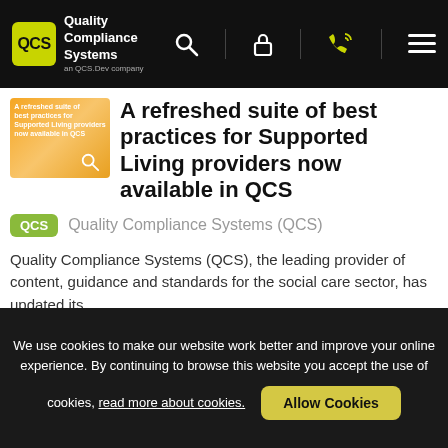Quality Compliance Systems — navigation bar with QCS logo, search, lock, phone, and menu icons
[Figure (illustration): Thumbnail image for article — orange/yellow gradient background with small white text 'A refreshed suite of best practices for Supported Living providers now available in QCS' and a search icon overlay]
A refreshed suite of best practices for Supported Living providers now available in QCS
Quality Compliance Systems (QCS)
Quality Compliance Systems (QCS), the leading provider of content, guidance and standards for the social care sector, has updated its...
Read more
We use cookies to make our website work better and improve your online experience. By continuing to browse this website you accept the use of cookies, read more about cookies.  Allow Cookies